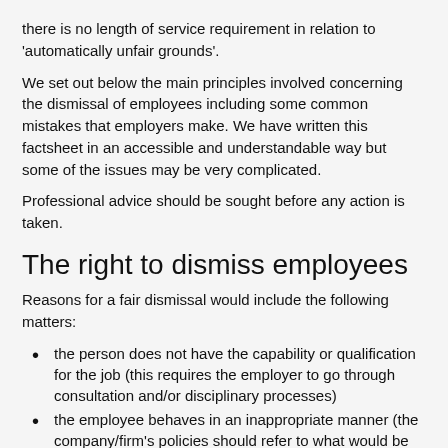there is no length of service requirement in relation to 'automatically unfair grounds'.
We set out below the main principles involved concerning the dismissal of employees including some common mistakes that employers make. We have written this factsheet in an accessible and understandable way but some of the issues may be very complicated.
Professional advice should be sought before any action is taken.
The right to dismiss employees
Reasons for a fair dismissal would include the following matters:
the person does not have the capability or qualification for the job (this requires the employer to go through consultation and/or disciplinary processes)
the employee behaves in an inappropriate manner (the company/firm's policies should refer to what would be unreasonable behaviour and the business must go through disciplinary procedures)